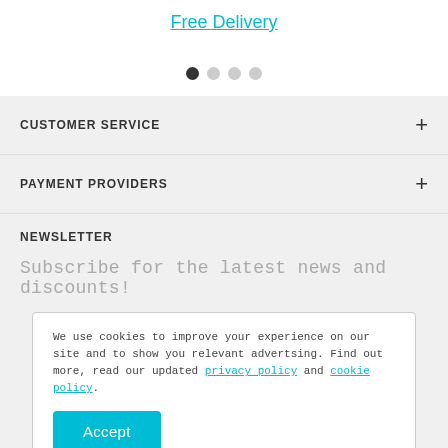Free Delivery
[Figure (other): Carousel pagination dots: 4 dots, first filled black, rest gray]
CUSTOMER SERVICE
PAYMENT PROVIDERS
NEWSLETTER
Subscribe for the latest news and discounts!
We use cookies to improve your experience on our site and to show you relevant advertsing. Find out more, read our updated privacy policy and cookie policy.
Accept